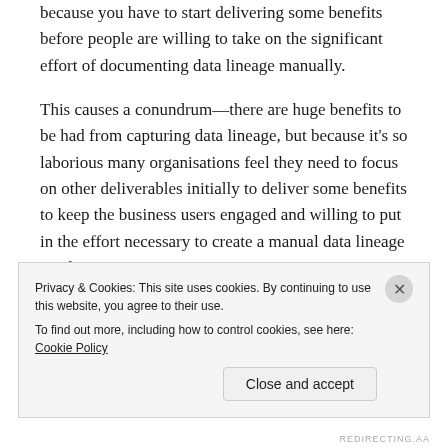because you have to start delivering some benefits before people are willing to take on the significant effort of documenting data lineage manually.
This causes a conundrum—there are huge benefits to be had from capturing data lineage, but because it's so laborious many organisations feel they need to focus on other deliverables initially to deliver some benefits to keep the business users engaged and willing to put in the effort necessary to create a manual data lineage at a later stage.
I get frustrated that this valuable deliverable is often
Privacy & Cookies: This site uses cookies. By continuing to use this website, you agree to their use.
To find out more, including how to control cookies, see here: Cookie Policy
Close and accept
REDIRECTING.AA